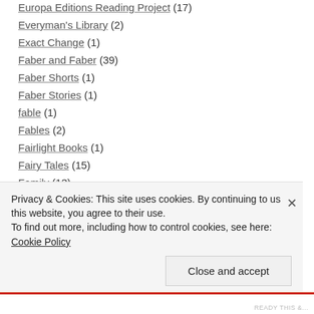Europa Editions Reading Project (17)
Everyman's Library (2)
Exact Change (1)
Faber and Faber (39)
Faber Shorts (1)
Faber Stories (1)
fable (1)
Fables (2)
Fairlight Books (1)
Fairy Tales (15)
Family (13)
family life (5)
Privacy & Cookies: This site uses cookies. By continuing to use this website, you agree to their use. To find out more, including how to control cookies, see here: Cookie Policy
Close and accept